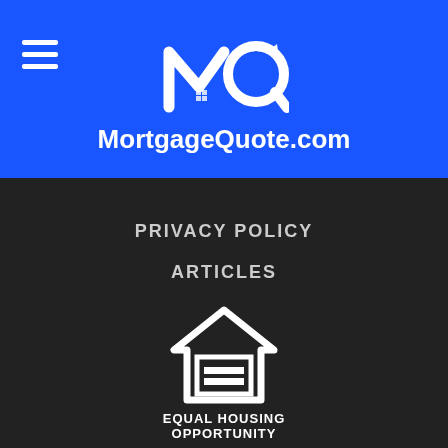[Figure (logo): MortgageQuote.com logo with MQ icon on blue background, hamburger menu icon on left]
PRIVACY POLICY
ARTICLES
COUNTIES
CONTACT US
SITEMAP
[Figure (logo): Equal Housing Opportunity logo — house outline with equals sign inside, text EQUAL HOUSING OPPORTUNITY below]